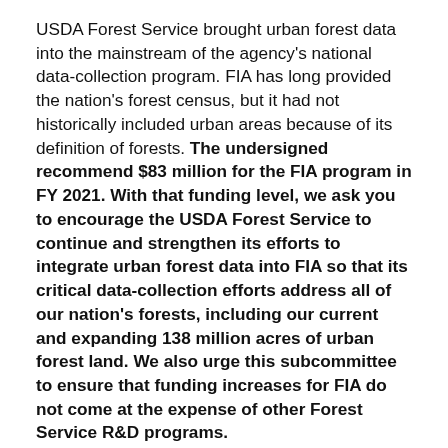USDA Forest Service brought urban forest data into the mainstream of the agency's national data-collection program. FIA has long provided the nation's forest census, but it had not historically included urban areas because of its definition of forests. The undersigned recommend $83 million for the FIA program in FY 2021. With that funding level, we ask you to encourage the USDA Forest Service to continue and strengthen its efforts to integrate urban forest data into FIA so that its critical data-collection efforts address all of our nation's forests, including our current and expanding 138 million acres of urban forest land. We also urge this subcommittee to ensure that funding increases for FIA do not come at the expense of other Forest Service R&D programs.
Environmental Protection Agency